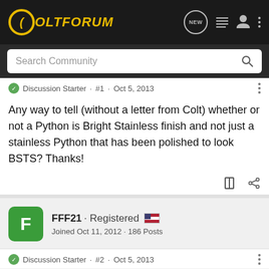ColtForum
Search Community
Discussion Starter · #1 · Oct 5, 2013
Any way to tell (without a letter from Colt) whether or not a Python is Bright Stainless finish and not just a stainless Python that has been polished to look BSTS? Thanks!
FFF21 · Registered
Joined Oct 11, 2012 · 186 Posts
Discussion Starter · #2 · Oct 5, 2013